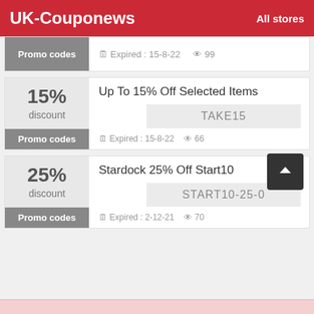UK-Couponews   All stores
Promo codes  Expired : 15-8-22  99
15% discount  Up To 15% Off Selected Items  TAKE15  Promo codes  Expired : 15-8-22  66
25% discount  Stardock 25% Off Start10  START10-25-0  Promo codes  Expired : 2-12-21  70